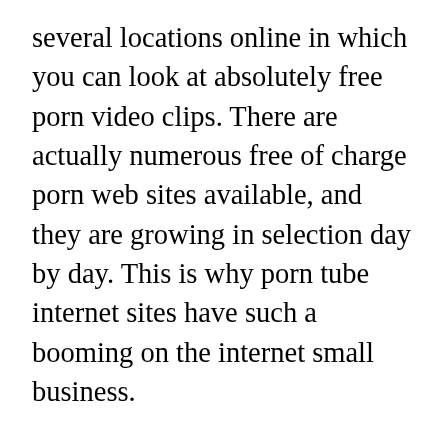several locations online in which you can look at absolutely free porn video clips. There are actually numerous free of charge porn web sites available, and they are growing in selection day by day. This is why porn tube internet sites have such a booming on the internet small business.
So, how exactly does one find the leading porn websites over the internet? How will you discover the porn tube web sites which might be the most well-liked? What exactly is the criteria that these leading porn sites use to rank high on search engines? Perfectly, that's actually a surprisingly easy